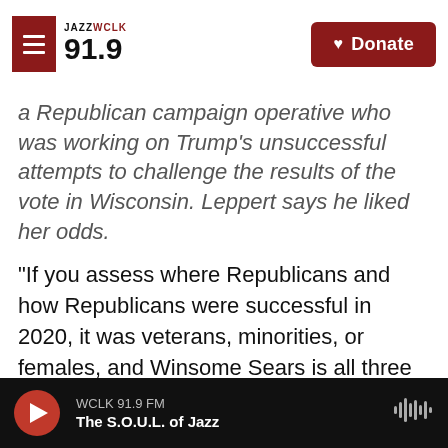JAZZ WCLK 91.9 | Donate
a Republican campaign operative who was working on Trump's unsuccessful attempts to challenge the results of the vote in Wisconsin. Leppert says he liked her odds.
"If you assess where Republicans and how Republicans were successful in 2020, it was veterans, minorities, or females, and Winsome Sears is all three of those things," says Leppert, who went on to become an early campaign manager.
It was a message Sears repeatedly made herself in
WCLK 91.9 FM | The S.O.U.L. of Jazz